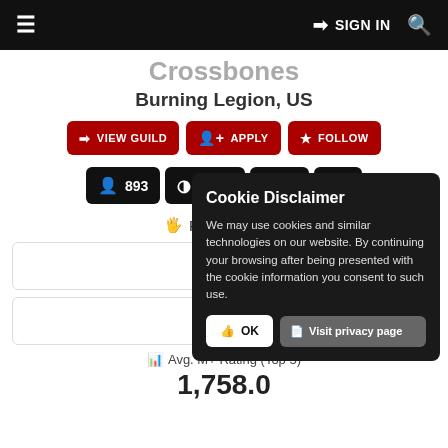≡   SIGN IN 🔍
Crossbones
Burning Legion, US
VIEW GUILD   APPLY   FOLLOW
893   25/25   8
Raid Progress
Cookie Disclaimer

We may use cookies and similar technologies on our website. By continuing your browsing after being presented with the cookie information you consent to such use.

OK   Visit privacy page
Avg. M+ Rating (Top 5)
1,758.0